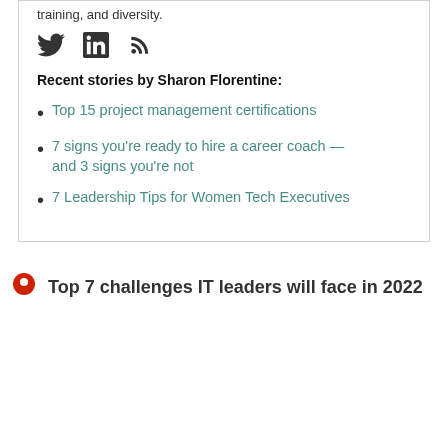training, and diversity.
[Figure (other): Social media icons: Twitter bird, LinkedIn square, RSS feed]
Recent stories by Sharon Florentine:
Top 15 project management certifications
7 signs you're ready to hire a career coach — and 3 signs you're not
7 Leadership Tips for Women Tech Executives
Top 7 challenges IT leaders will face in 2022